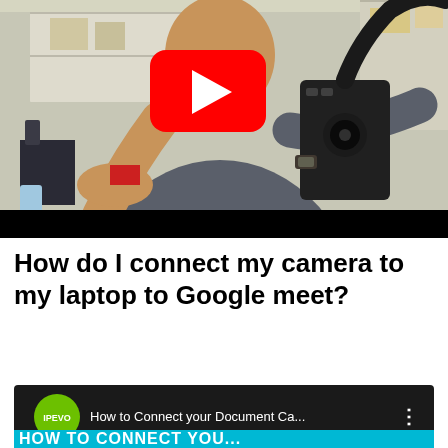[Figure (screenshot): YouTube video thumbnail showing a man holding a document camera in a storage room. A red YouTube play button is overlaid in the center. Below the video image is a black bar.]
How do I connect my camera to my laptop to Google meet?
[Figure (screenshot): YouTube video card with dark background. Green circle with IPEVO logo on left. Text reads 'How to Connect your Document Ca...' with three-dot menu icon. Below is a cyan banner with partial text 'HOW TO CONNECT YOU...']